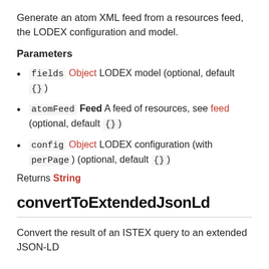Generate an atom XML feed from a resources feed, the LODEX configuration and model.
Parameters
fields Object LODEX model (optional, default {})
atomFeed Feed A feed of resources, see feed (optional, default {})
config Object LODEX configuration (with perPage) (optional, default {})
Returns String
convertToExtendedJsonLd
Convert the result of an ISTEX query to an extended JSON-LD